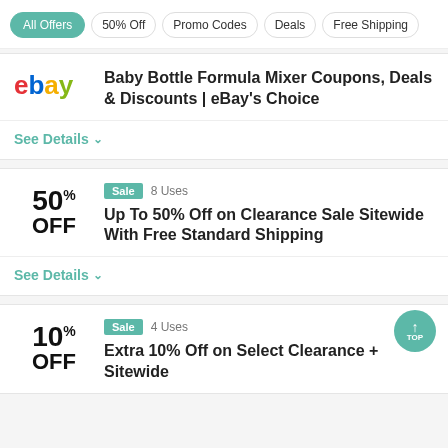All Offers
50% Off
Promo Codes
Deals
Free Shipping
Baby Bottle Formula Mixer Coupons, Deals & Discounts | eBay's Choice
See Details
Sale  8 Uses
50% OFF
Up To 50% Off on Clearance Sale Sitewide With Free Standard Shipping
See Details
Sale  4 Uses
10% OFF
Extra 10% Off on Select Clearance + Sitewide